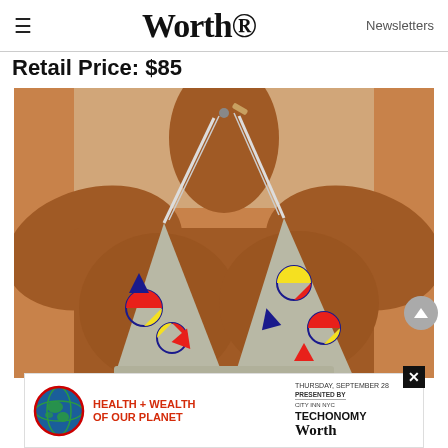≡  Worth  Newsletters
Retail Price: $85
[Figure (photo): Close-up photo of a person wearing a colorful patterned bikini top with geometric shapes (circles, triangles) in primary colors on a grey/silver background. The model has dark brown skin. Background is a neutral beige.]
[Figure (other): Advertisement banner: Health + Wealth of Our Planet event. Thursday, September 28. Presented by. Techonomy. Worth. City Inn NYC.]